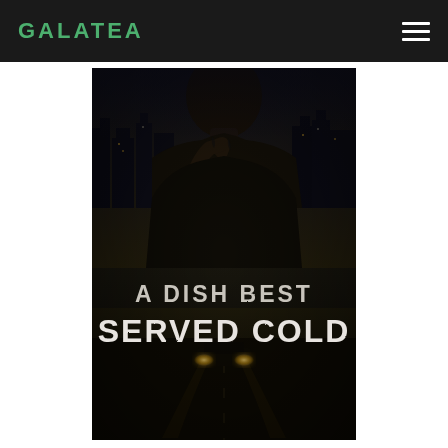GALATEA
[Figure (illustration): Book cover for 'A Dish Best Served Cold' — dark/moody cover showing a tattooed man in a thoughtful pose against a dark city skyline background, with a car's headlights visible in the lower portion. Large bold text reads 'A DISH BEST SERVED COLD'.]